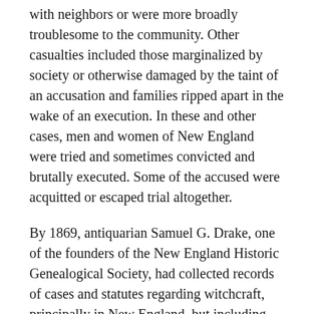with neighbors or were more broadly troublesome to the community. Other casualties included those marginalized by society or otherwise damaged by the taint of an accusation and families ripped apart in the wake of an execution. In these and other cases, men and women of New England were tried and sometimes convicted and brutally executed. Some of the accused were acquitted or escaped trial altogether.
By 1869, antiquarian Samuel G. Drake, one of the founders of the New England Historic Genealogical Society, had collected records of cases and statutes regarding witchcraft, principally in New England, but including items of interest from as far away as Virginia and South Carolina, for the period 1636 to 1728; he gathered them for publication as Annals of Witchcraft in New England. Drake believed that books on witchcraft, sorcery, and magic had been brought to America by the earliest European settlers, who, influenced by the ideas in these texts, added to them